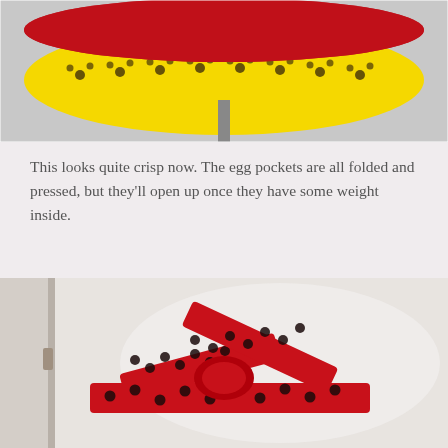[Figure (photo): Top portion of a fabric egg basket/carrier with yellow Mickey Mouse patterned fabric bottom and red fabric top, shown on a mannequin stand against a gray wall with an electrical outlet visible.]
This looks quite crisp now. The egg pockets are all folded and pressed, but they'll open up once they have some weight inside.
[Figure (photo): A red and black polka dot fabric apron tie/bow shown against a white background, demonstrating how the apron strings are tied in a bow.]